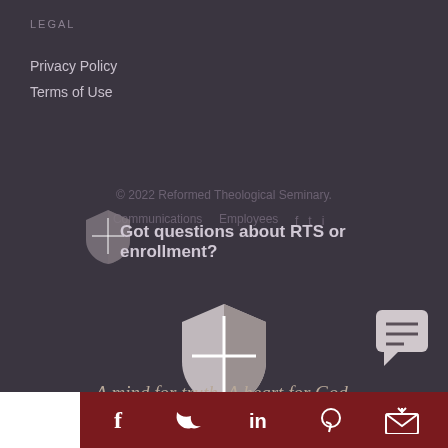LEGAL
Privacy Policy
Terms of Use
© 2022 Reformed Theological Seminary.
Communications   Employees
Got questions about RTS or enrollment?
[Figure (logo): RTS shield logo with cross, large version]
[Figure (other): Chat/message icon bubble]
A mind for truth. A heart for God.
Social media icons: Facebook, Twitter, LinkedIn, Pinterest, Email